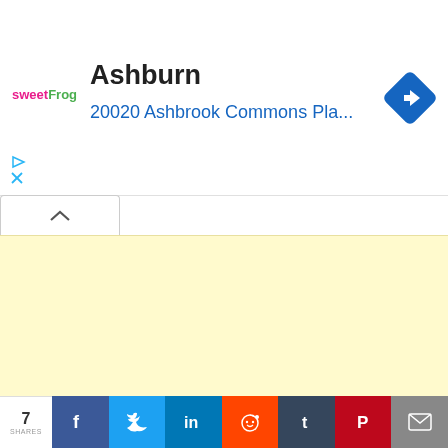[Figure (screenshot): Ad banner: sweetFrog logo, 'Ashburn' title, '20020 Ashbrook Commons Pla...' address in blue, blue diamond navigation icon, play and close controls]
Here, Uttar (Uttara) means north and dwara (dwar) means the gate of Vaikuntha.
Also, there is a spiritual and yogic (Kundalini) importance for Mukhati Ekadashi. This is similar to
[Figure (screenshot): Social share bar: 7 SHARES, Facebook, Twitter, LinkedIn, Reddit, Tumblr, Pinterest, Email buttons]